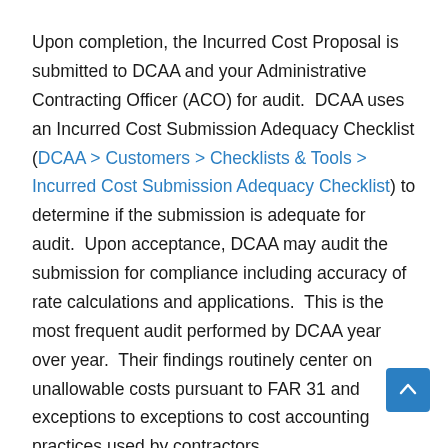Upon completion, the Incurred Cost Proposal is submitted to DCAA and your Administrative Contracting Officer (ACO) for audit.  DCAA uses an Incurred Cost Submission Adequacy Checklist (DCAA > Customers > Checklists & Tools > Incurred Cost Submission Adequacy Checklist) to determine if the submission is adequate for audit.  Upon acceptance, DCAA may audit the submission for compliance including accuracy of rate calculations and applications.  This is the most frequent audit performed by DCAA year over year.  Their findings routinely center on unallowable costs pursuant to FAR 31 and exceptions to exceptions to cost accounting practices used by contractors.